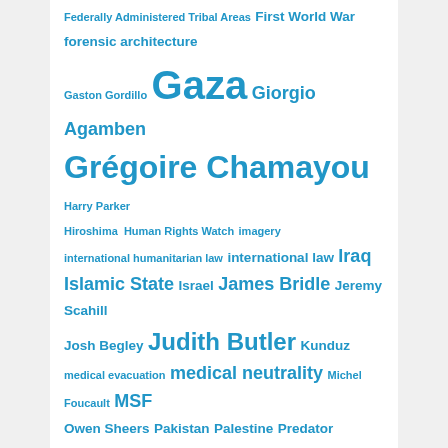Federally Administered Tribal Areas First World War forensic architecture Gaston Gordillo Gaza Giorgio Agamben Grégoire Chamayou Harry Parker Hiroshima Human Rights Watch imagery international humanitarian law international law Iraq Islamic State Israel James Bridle Jeremy Scahill Josh Begley Judith Butler Kunduz medical evacuation medical neutrality Michel Foucault MSF Owen Sheers Pakistan Palestine Predator refugees siege warfare social media space of exception Steve Graham Stuart Elden Syria targeted killing targeting terrorism torture Trevor Paglen Twitter United States Uruzgan Vietnam violence Walter Benjamin war Waziristan Western Front wounded Yemen